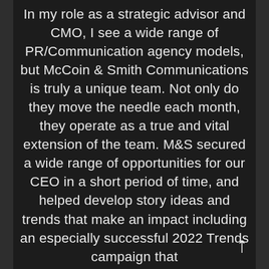In my role as a strategic advisor and CMO, I see a wide range of PR/Communication agency models, but McCoin & Smith Communications is truly a unique team. Not only do they move the needle each month, they operate as a true and vital extension of the team. M&S secured a wide range of opportunities for our CEO in a short period of time, and helped develop story ideas and trends that make an impact including an especially successful 2022 Trends campaign that